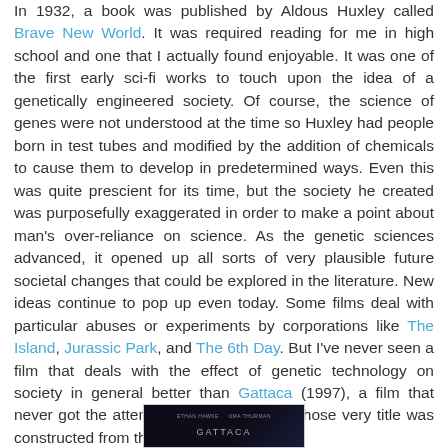In 1932, a book was published by Aldous Huxley called Brave New World. It was required reading for me in high school and one that I actually found enjoyable. It was one of the first early sci-fi works to touch upon the idea of a genetically engineered society. Of course, the science of genes were not understood at the time so Huxley had people born in test tubes and modified by the addition of chemicals to cause them to develop in predetermined ways. Even this was quite prescient for its time, but the society he created was purposefully exaggerated in order to make a point about man's over-reliance on science. As the genetic sciences advanced, it opened up all sorts of very plausible future societal changes that could be explored in the literature. New ideas continue to pop up even today. Some films deal with particular abuses or experiments by corporations like The Island, Jurassic Park, and The 6th Day. But I've never seen a film that deals with the effect of genetic technology on society in general better than Gattaca (1997), a film that never got the attention it deserved and whose very title was constructed from the genetic alphabet.
[Figure (photo): Movie poster or title card for Gattaca showing actor names Ethan Hawke and Uma Thurman on a dark background]